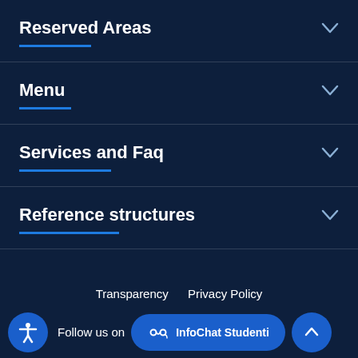Reserved Areas
Menu
Services and Faq
Reference structures
Transparency   Privacy Policy
Follow us on
InfoChat Studenti